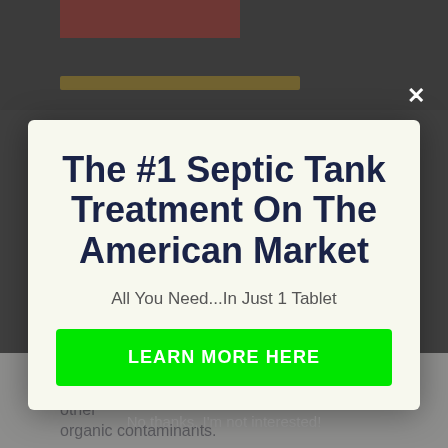[Figure (screenshot): Background webpage content showing a partially visible article page, darkened behind a modal overlay. A red block image and yellow highlighted line are visible at the top. Bottom shows partial text: 'These enzymes have no impact on various other organic contaminants.']
The #1 Septic Tank Treatment On The American Market
All You Need...In Just 1 Tablet
LEARN MORE HERE
No thanks, I'm not interested!